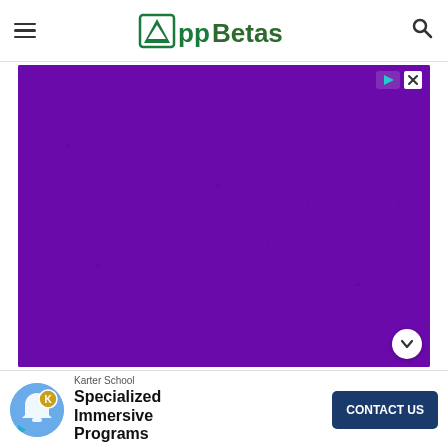AppBetas
[Figure (other): Large solid purple advertisement banner with ad controls (play and close buttons) in top-right corner and a chevron/down arrow button in bottom-right corner.]
[Figure (other): Bottom advertisement strip: Karter School ad with circular icon showing notification bell and K logo, title 'Specialized Immersive Programs', and a dark blue 'CONTACT US' button.]